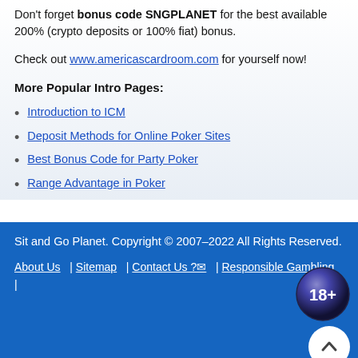Don't forget bonus code SNGPLANET for the best available 200% (crypto deposits or 100% fiat) bonus.
Check out www.americascardroom.com for yourself now!
More Popular Intro Pages:
Introduction to ICM
Deposit Methods for Online Poker Sites
Best Bonus Code for Party Poker
Range Advantage in Poker
Sit and Go Planet. Copyright © 2007–2022 All Rights Reserved. About Us | Sitemap | Contact Us ? | Responsible Gambling |